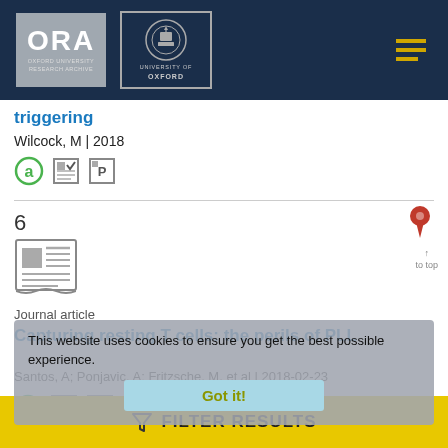[Figure (logo): ORA Oxford University Research Archive logo and University of Oxford crest logo on dark navy header with hamburger menu icon]
triggering
Wilcock, M | 2018
6
[Figure (illustration): Newspaper/journal article icon (grey, with text lines)]
Journal article
Capturing resting T cells: the perils of PLL
Santos, A; Ponjavic, A; Fritzsche, M, et al | 2018-02-23
This website uses cookies to ensure you get the best possible experience.
Got it!
FILTER RESULTS